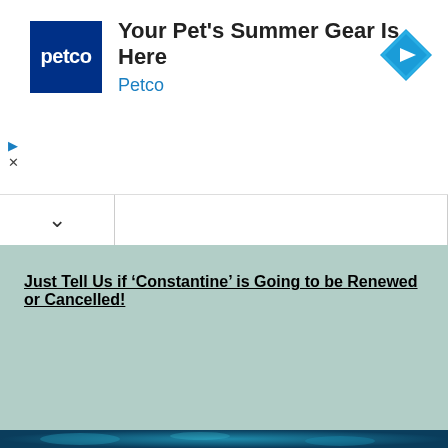[Figure (screenshot): Petco advertisement banner with Petco logo (white text on dark blue square), ad title 'Your Pet's Summer Gear Is Here', brand name 'Petco' in blue, and a blue diamond navigation icon on the right. Play and close (X) controls on the left side.]
Just Tell Us if ‘Constantine’ is Going to be Renewed or Cancelled!
[Figure (photo): Bottom strip showing a dark blue/teal background, appears to be a partial image at the bottom of the page.]